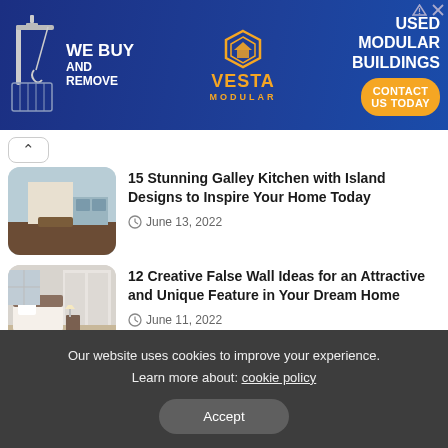[Figure (illustration): Advertisement banner: blue background with crane graphic, Vesta Modular logo, text 'WE BUY AND REMOVE USED MODULAR BUILDINGS', orange 'CONTACT US TODAY' button]
15 Stunning Galley Kitchen with Island Designs to Inspire Your Home Today
June 13, 2022
12 Creative False Wall Ideas for an Attractive and Unique Feature in Your Dream Home
June 11, 2022
Categories
Our website uses cookies to improve your experience. Learn more about: cookie policy
Accept